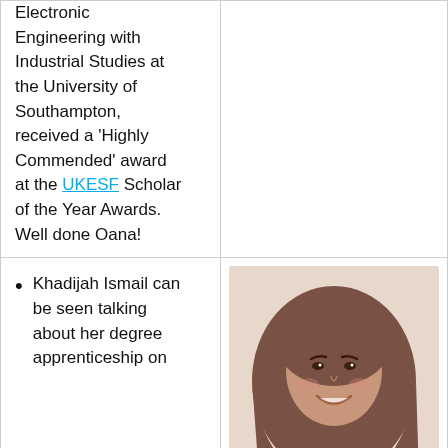Electronic Engineering with Industrial Studies at the University of Southampton, received a 'Highly Commended' award at the UKESF Scholar of the Year Awards. Well done Oana!
Khadijah Ismail can be seen talking about her degree apprenticeship on
[Figure (photo): Portrait photo of a young woman wearing a brown hijab, smiling, on a light beige/cream background.]